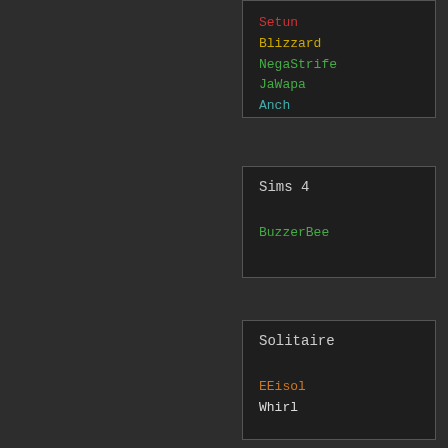Setun
Blizzard
NegaStrife
JaWapa
Anch
Sims 4

BuzzerBee
Solitaire

EEisol
Whirl